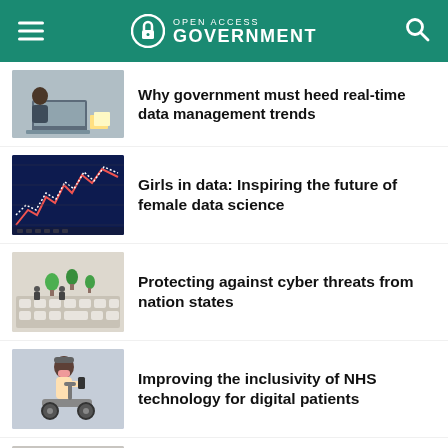Open Access Government
Why government must heed real-time data management trends
[Figure (photo): People working at a laptop with documents]
Girls in data: Inspiring the future of female data science
[Figure (photo): Stock market chart lines on blue background]
Protecting against cyber threats from nation states
[Figure (photo): Miniature figures on keyboard keys]
Improving the inclusivity of NHS technology for digital patients
[Figure (photo): Person wearing hat and mask using phone on mobility scooter]
Cyber risk: how secure is our critical